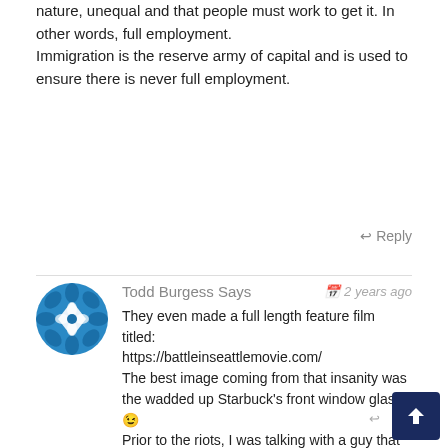nature, unequal and that people must work to get it. In other words, full employment.
Immigration is the reserve army of capital and is used to ensure there is never full employment.
↩ Reply
Todd Burgess Says
2 years ago
They even made a full length feature film titled:
https://battleinseattlemovie.com/
The best image coming from that insanity was the wadded up Starbuck's front window glass. 😉
Prior to the riots, I was talking with a guy that had installed lots of protective film on storefronts in downtown Seattle. I asked why, he said "The coming riots!" The WHAT??
I didn't know what he was talking about until blammo, the riots began, and I saw the waste of money the "Armor Coat" film was to determined vandals.